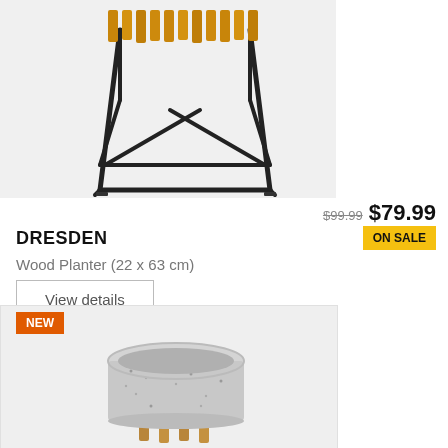[Figure (photo): Wood planter with metal frame stand, shown from front angle on light gray background]
$99.99 $79.99
DRESDEN
ON SALE
Wood Planter (22 x 63 cm)
View details
NEW
[Figure (photo): Round gray speckled concrete pot on wooden stand with four legs, shown from slight angle on light gray background]